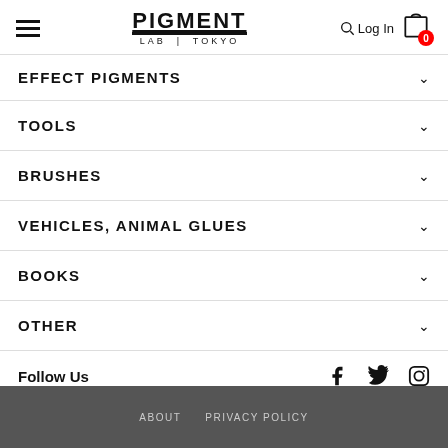PIGMENT LAB | TOKYO
EFFECT PIGMENTS
TOOLS
BRUSHES
VEHICLES, ANIMAL GLUES
BOOKS
OTHER
Follow Us
Japanese | English
ABOUT   PRIVACY POLICY